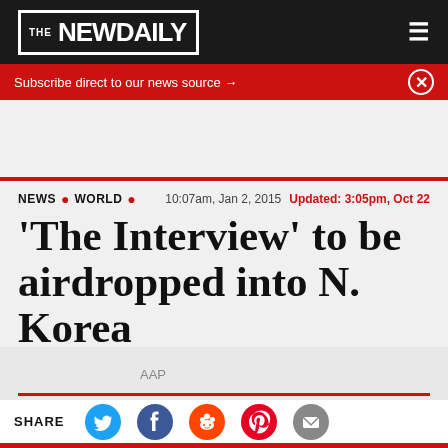THE NEW DAILY
Subscribe direct to our news source →
NEWS • WORLD • 10:07am, Jan 2, 2015 Updated: 3:05pm, Oct 22
'The Interview' to be airdropped into N. Korea
AAP
SHARE